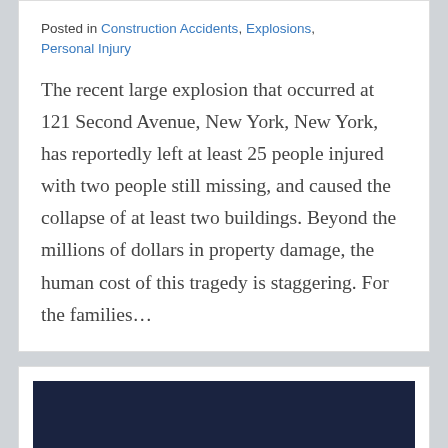Posted in Construction Accidents, Explosions, Personal Injury
The recent large explosion that occurred at 121 Second Avenue, New York, New York, has reportedly left at least 25 people injured with two people still missing, and caused the collapse of at least two buildings. Beyond the millions of dollars in property damage, the human cost of this tragedy is staggering. For the families...
[Figure (photo): Dark blue/navy photograph, partially visible at bottom of page, appearing to show a scene related to the explosion or building collapse.]